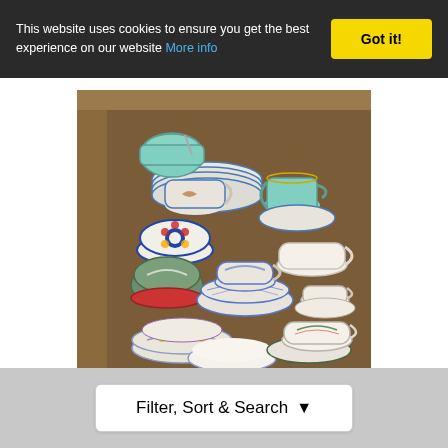This website uses cookies to ensure you get the best experience on our website More info
Got it!
[Figure (photo): A cardboard box filled with various china pieces including cups, saucers, bowls, and plates in different patterns — blue and white, teal/green, floral, and cream colored ceramics.]
Filter, Sort & Search